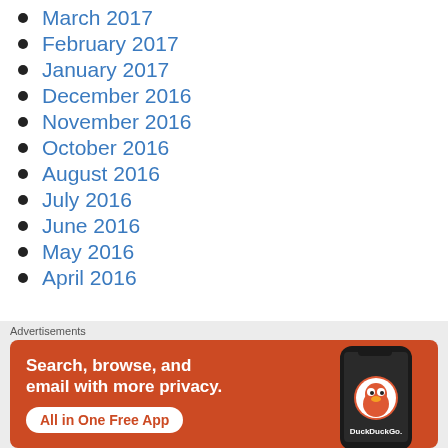March 2017
February 2017
January 2017
December 2016
November 2016
October 2016
August 2016
July 2016
June 2016
May 2016
April 2016
[Figure (illustration): DuckDuckGo advertisement banner with orange background. Text: 'Search, browse, and email with more privacy. All in One Free App'. Shows a smartphone with DuckDuckGo logo.]